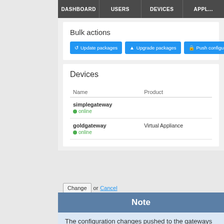DASHBOARD | USERS | DEVICES | APPL...
Bulk actions
Update packages | Upgrade packages | Push configuration
Devices
| Name | Product |
| --- | --- |
| simplegateway
online |  |
| goldgateway
online | Virtual Appliance |
Change or Cancel
Note
The configuration changes pushed to the gateways are stor...